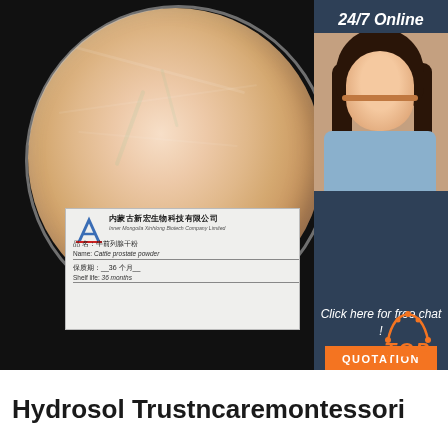[Figure (photo): Product image showing a peach/beige colored powder (Cattle prostate powder) in a round glass petri dish, on a black background. In the top-right corner is a sidebar with '24/7 Online' text, a female customer service agent wearing a headset, 'Click here for free chat!' text, and an orange QUOTATION button. A product label card is visible at the bottom of the main image showing Chinese company name (内蒙古新宏生物科技有限公司), Inner Mongolia Xinhong Biotech Company Limited, product name in Chinese and English: Cattle prostate powder, shelf life 36 months. A TOP logo appears in orange at the bottom right.]
Hydrosol Trustncaremontessori